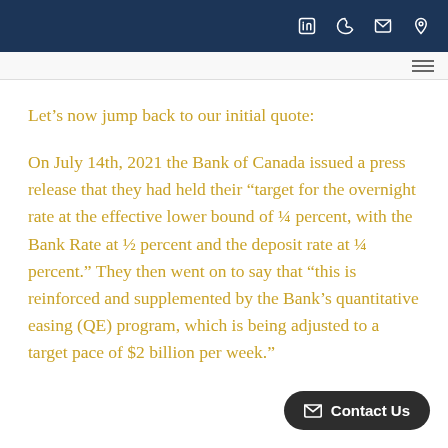[LinkedIn] [Phone] [Email] [Location]
Let’s now jump back to our initial quote:
On July 14th, 2021 the Bank of Canada issued a press release that they had held their “target for the overnight rate at the effective lower bound of ¼ percent, with the Bank Rate at ½ percent and the deposit rate at ¼ percent.” They then went on to say that “this is reinforced and supplemented by the Bank’s quantitative easing (QE) program, which is being adjusted to a target pace of $2 billion per week.”